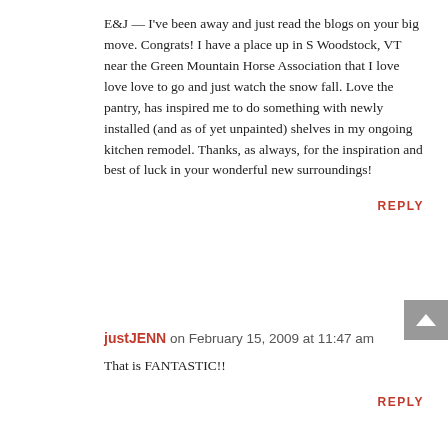E&J — I've been away and just read the blogs on your big move. Congrats! I have a place up in S Woodstock, VT near the Green Mountain Horse Association that I love love love to go and just watch the snow fall. Love the pantry, has inspired me to do something with newly installed (and as of yet unpainted) shelves in my ongoing kitchen remodel. Thanks, as always, for the inspiration and best of luck in your wonderful new surroundings!
REPLY
justJENN on February 15, 2009 at 11:47 am
That is FANTASTIC!!
REPLY